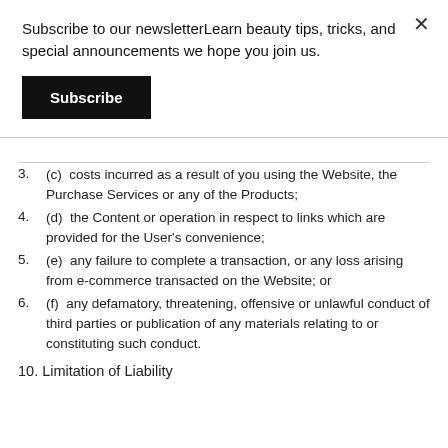Subscribe to our newsletterLearn beauty tips, tricks, and special announcements we hope you join us.
Subscribe
3. (c)  costs incurred as a result of you using the Website, the Purchase Services or any of the Products;
4. (d)  the Content or operation in respect to links which are provided for the User's convenience;
5. (e)  any failure to complete a transaction, or any loss arising from e-commerce transacted on the Website; or
6. (f)  any defamatory, threatening, offensive or unlawful conduct of third parties or publication of any materials relating to or constituting such conduct.
10. Limitation of Liability